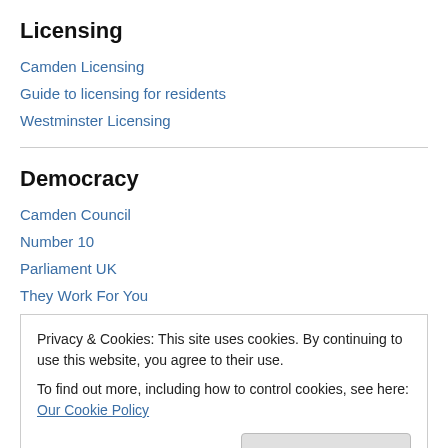Licensing
Camden Licensing
Guide to licensing for residents
Westminster Licensing
Democracy
Camden Council
Number 10
Parliament UK
They Work For You
Privacy & Cookies: This site uses cookies. By continuing to use this website, you agree to their use.
To find out more, including how to control cookies, see here: Our Cookie Policy
Close and accept
eBay for charity